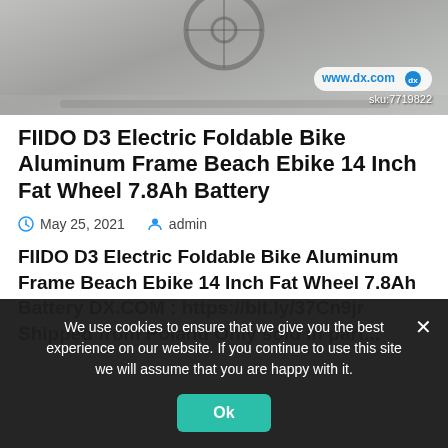[Figure (photo): Top portion of a product image showing an electric foldable bike with a dx.com watermark and sku:7719822]
FIIDO D3 Electric Foldable Bike Aluminum Frame Beach Ebike 14 Inch Fat Wheel 7.8Ah Battery
May 25, 2021   admin
FIIDO D3 Electric Foldable Bike Aluminum Frame Beach Ebike 14 Inch Fat Wheel 7.8Ah Battery DX.COM : https://bit.ly/37Cn9jr Shipped from Poland Only sold in part...
We use cookies to ensure that we give you the best experience on our website. If you continue to use this site we will assume that you are happy with it.